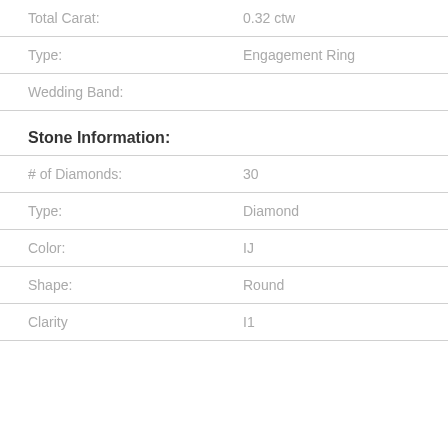| Field | Value |
| --- | --- |
| Total Carat: | 0.32 ctw |
| Type: | Engagement Ring |
| Wedding Band: |  |
Stone Information:
| Field | Value |
| --- | --- |
| # of Diamonds: | 30 |
| Type: | Diamond |
| Color: | IJ |
| Shape: | Round |
| Clarity | I1 |